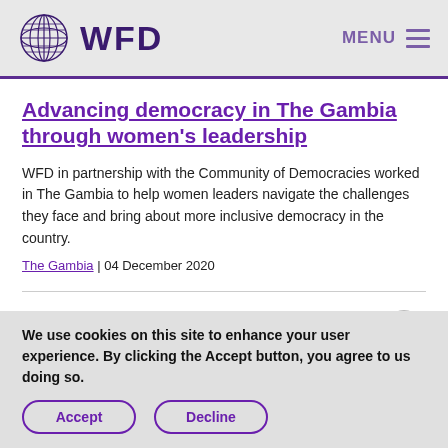WFD | MENU
Advancing democracy in The Gambia through women's leadership
WFD in partnership with the Community of Democracies worked in The Gambia to help women leaders navigate the challenges they face and bring about more inclusive democracy in the country.
The Gambia | 04 December 2020
Case Study: Opening parliament to civil
We use cookies on this site to enhance your user experience. By clicking the Accept button, you agree to us doing so.